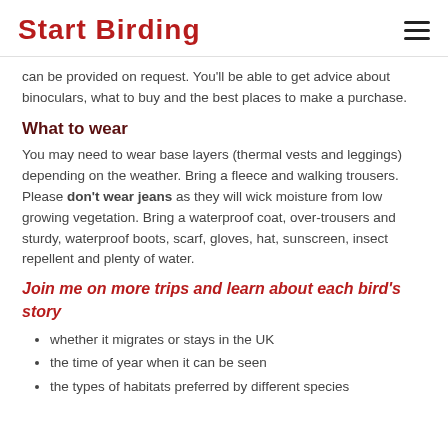Start Birding
can be provided on request. You'll be able to get advice about binoculars, what to buy and the best places to make a purchase.
What to wear
You may need to wear base layers (thermal vests and leggings) depending on the weather. Bring a fleece and walking trousers. Please don't wear jeans as they will wick moisture from low growing vegetation. Bring a waterproof coat, over-trousers and sturdy, waterproof boots, scarf, gloves, hat, sunscreen, insect repellent and plenty of water.
Join me on more trips and learn about each bird's story
whether it migrates or stays in the UK
the time of year when it can be seen
the types of habitats preferred by different species